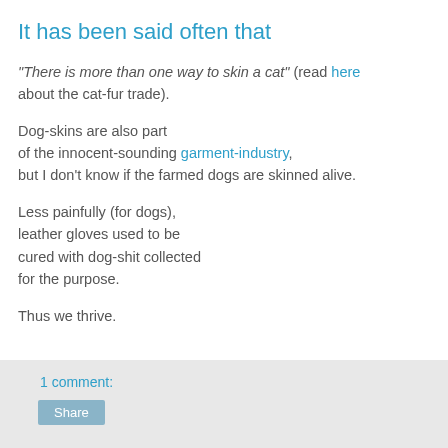It has been said often that
"There is more than one way to skin a cat" (read here about the cat-fur trade).
Dog-skins are also part of the innocent-sounding garment-industry, but I don't know if the farmed dogs are skinned alive.
Less painfully (for dogs), leather gloves used to be cured with dog-shit collected for the purpose.
Thus we thrive.
1 comment: